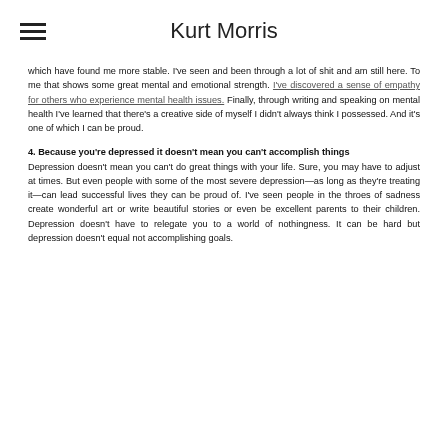Kurt Morris
which have found me more stable. I've seen and been through a lot of shit and am still here. To me that shows some great mental and emotional strength. I've discovered a sense of empathy for others who experience mental health issues. Finally, through writing and speaking on mental health I've learned that there's a creative side of myself I didn't always think I possessed. And it's one of which I can be proud.
4. Because you're depressed it doesn't mean you can't accomplish things
Depression doesn't mean you can't do great things with your life. Sure, you may have to adjust at times. But even people with some of the most severe depression—as long as they're treating it—can lead successful lives they can be proud of. I've seen people in the throes of sadness create wonderful art or write beautiful stories or even be excellent parents to their children. Depression doesn't have to relegate you to a world of nothingness. It can be hard but depression doesn't equal not accomplishing goals.